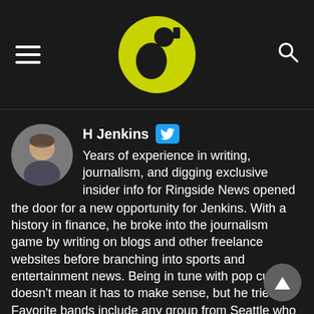Ringside News navigation header with logo
H Jenkins — Years of experience in writing, journalism, and digging exclusive insider info for Ringside News opened the door for a new opportunity for Jenkins. With a history in finance, he broke into the journalism game by writing on blogs and other freelance websites before branching into sports and entertainment news. Being in tune with pop culture doesn't mean it has to make sense, but he tries. Favorite bands include any group from Seattle who formed between 1991 and 1999. 5 Ozzfests under his belt and 12 Warped Tours, but his last concert was a bluegrass AC/DC cover band that was not 100% terrible.